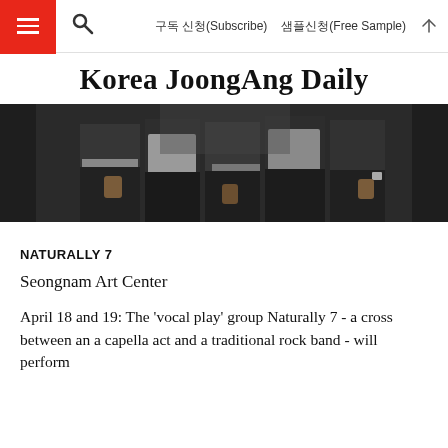Korea JoongAng Daily — 구독 신청(Subscribe) 샘플신청(Free Sample)
Korea JoongAng Daily
[Figure (photo): Group photo of Naturally 7 members, shown from waist down wearing dark clothing against a light background]
NATURALLY 7
Seongnam Art Center
April 18 and 19: The 'vocal play' group Naturally 7 - a cross between an a capella act and a traditional rock band - will perform